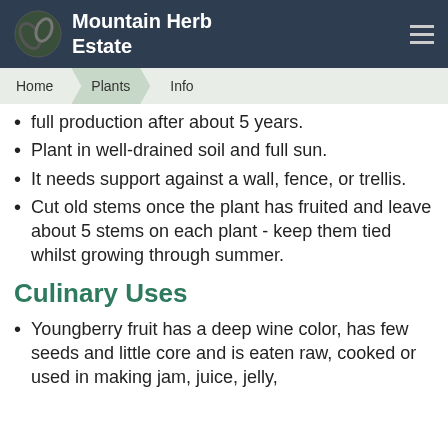Mountain Herb Estate
Home | Plants | Info
full production after about 5 years.
Plant in well-drained soil and full sun.
It needs support against a wall, fence, or trellis.
Cut old stems once the plant has fruited and leave about 5 stems on each plant - keep them tied whilst growing through summer.
Culinary Uses
Youngberry fruit has a deep wine color, has few seeds and little core and is eaten raw, cooked or used in making jam, juice, jelly,